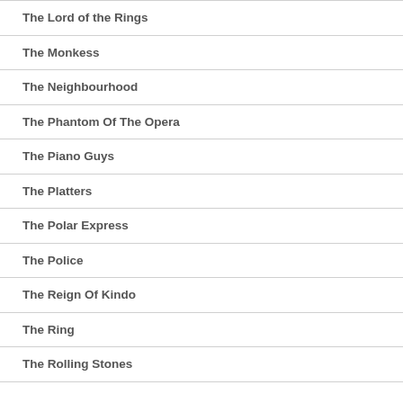The Lord of the Rings
The Monkess
The Neighbourhood
The Phantom Of The Opera
The Piano Guys
The Platters
The Polar Express
The Police
The Reign Of Kindo
The Ring
The Rolling Stones